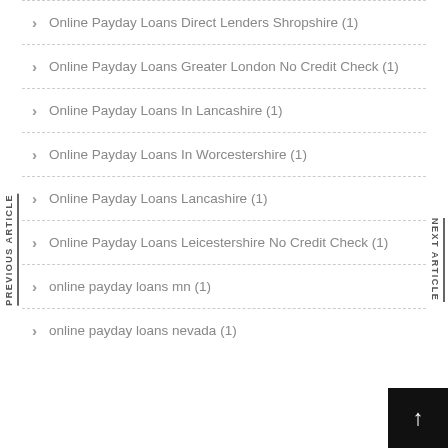Online Payday Loans Direct Lenders Shropshire (1)
Online Payday Loans Greater London No Credit Check (1)
Online Payday Loans In Lancashire (1)
Online Payday Loans In Worcestershire (1)
Online Payday Loans Lancashire (1)
Online Payday Loans Leicestershire No Credit Check (1)
online payday loans mn (1)
online payday loans nevada (1)